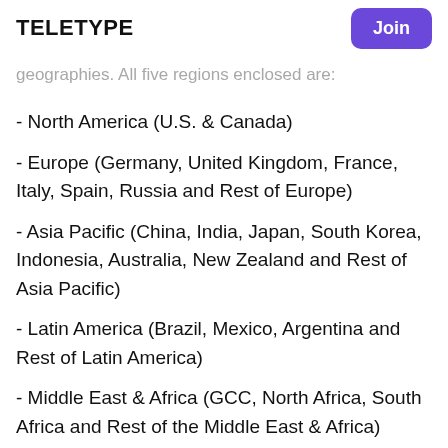analysis, is done to yield key market opportunities,
TELETYPE | Join
geographies. All five regions enclosed are:
- North America (U.S. & Canada)
- Europe (Germany, United Kingdom, France, Italy, Spain, Russia and Rest of Europe)
- Asia Pacific (China, India, Japan, South Korea, Indonesia, Australia, New Zealand and Rest of Asia Pacific)
- Latin America (Brazil, Mexico, Argentina and Rest of Latin America)
- Middle East & Africa (GCC, North Africa, South Africa and Rest of the Middle East & Africa)
The analysis has also been broken down on multitudinous segmentation levels to comprehend